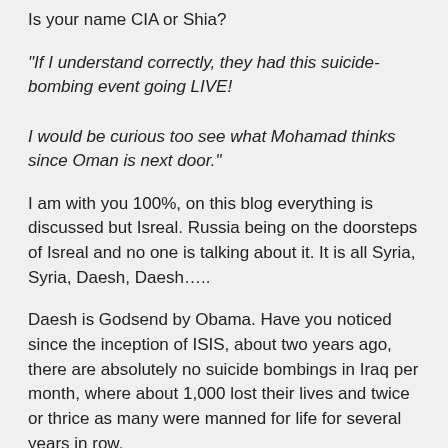Is your name CIA or Shia?
“If I understand correctly, they had this suicide-bombing event going LIVE!
I would be curious too see what Mohamad thinks since Oman is next door.”
I am with you 100%, on this blog everything is discussed but Isreal. Russia being on the doorsteps of Isreal and no one is talking about it. It is all Syria, Syria, Daesh, Daesh…..
Daesh is Godsend by Obama. Have you noticed since the inception of ISIS, about two years ago, there are absolutely no suicide bombings in Iraq per month, where about 1,000 lost their lives and twice or thrice as many were manned for life for several years in row.
Per month for several years in row and who was blamed? The Shia!
One has to listen Uncle Bob 1, that the Shia made mistakes in Iraq in regards to the Sunni minority. It is drinking the juice of The E...